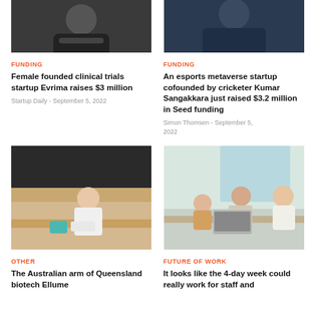[Figure (photo): Woman with arms crossed, dark background, partial top crop]
[Figure (photo): Man in dark shirt, partial top crop]
FUNDING
Female founded clinical trials startup Evrima raises $3 million
Startup Daily - September 5, 2022
FUNDING
An esports metaverse startup cofounded by cricketer Kumar Sangakkara just raised $3.2 million in Seed funding
Simon Thomsen - September 5, 2022
[Figure (photo): Woman in white shirt at kitchen table using phone with product]
[Figure (photo): Mother with glasses on laptop with two children at table]
OTHER
The Australian arm of Queensland biotech Ellume
FUTURE OF WORK
It looks like the 4-day week could really work for staff and